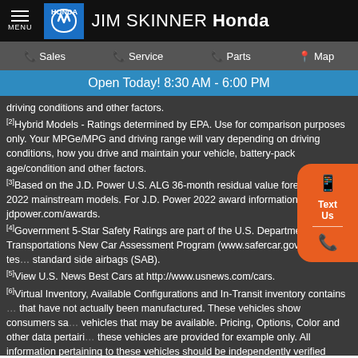JIM SKINNER Honda
Sales  Service  Parts  Map
Open Today! 8:30 AM - 6:00 PM
driving conditions and other factors.
[2]Hybrid Models - Ratings determined by EPA. Use for comparison purposes only. Your MPGe/MPG and driving range will vary depending on driving conditions, how you drive and maintain your vehicle, battery-pack age/condition and other factors.
[3]Based on the J.D. Power U.S. ALG 36-month residual value forecast for 2022 mainstream models. For J.D. Power 2022 award information, visit jdpower.com/awards.
[4]Government 5-Star Safety Ratings are part of the U.S. Department of Transportations New Car Assessment Program (www.safercar.gov). Model tested with standard side airbags (SAB).
[5]View U.S. News Best Cars at http://www.usnews.com/cars.
[6]Virtual Inventory, Available Configurations and In-Transit inventory contains vehicles that have not actually been manufactured. These vehicles show consumers sample vehicles that may be available. Pricing, Options, Color and other data pertaining to these vehicles are provided for example only. All information pertaining to these vehicles should be independently verified through the dealer.
[7]Some vehicles may have dealer installed options that are not included in the price.
[15]Used vehicles may not be equipped the same as when they are purchased new from the factory.